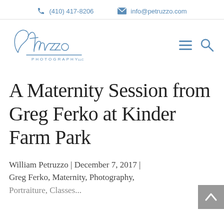(410) 417-8206  info@petruzzo.com
[Figure (logo): Petruzzo Photography LLC cursive signature logo in blue]
A Maternity Session from Greg Ferko at Kinder Farm Park
William Petruzzo | December 7, 2017 | Greg Ferko, Maternity, Photography, Portraiture, Classes...